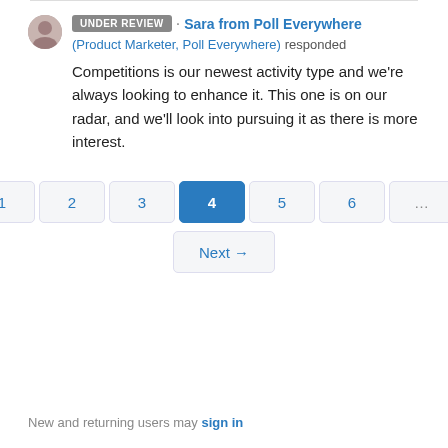UNDER REVIEW · Sara from Poll Everywhere (Product Marketer, Poll Everywhere) responded
Competitions is our newest activity type and we're always looking to enhance it. This one is on our radar, and we'll look into pursuing it as there is more interest.
← Previous 1 2 3 4 5 6 … 14 15 Next →
New and returning users may sign in